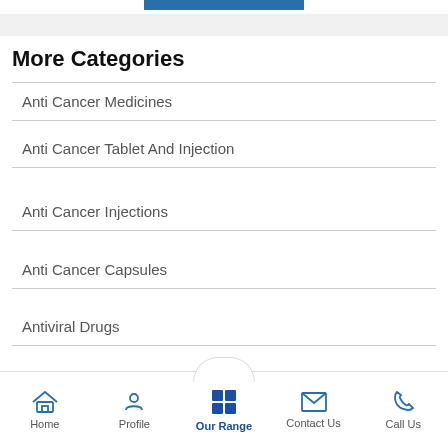More Categories
Anti Cancer Medicines
Anti Cancer Tablet And Injection
Anti Cancer Injections
Anti Cancer Capsules
Antiviral Drugs
Pharmaceutical Tablets
View All Categories »
Home  Profile  Our Range  Contact Us  Call Us